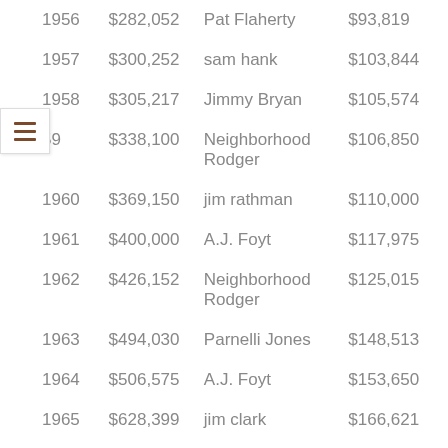| Year | Total Purse | Winner | Winner Earnings |
| --- | --- | --- | --- |
| 1956 | $282,052 | Pat Flaherty | $93,819 |
| 1957 | $300,252 | sam hank | $103,844 |
| 1958 | $305,217 | Jimmy Bryan | $105,574 |
| 1959 | $338,100 | Neighborhood Rodger | $106,850 |
| 1960 | $369,150 | jim rathman | $110,000 |
| 1961 | $400,000 | A.J. Foyt | $117,975 |
| 1962 | $426,152 | Neighborhood Rodger | $125,015 |
| 1963 | $494,030 | Parnelli Jones | $148,513 |
| 1964 | $506,575 | A.J. Foyt | $153,650 |
| 1965 | $628,399 | jim clark | $166,621 |
| 1966 | $691,808 | Graham Hill | $156,297 |
| 1967 | $734,834 | A.J. Foyt | $171,527 |